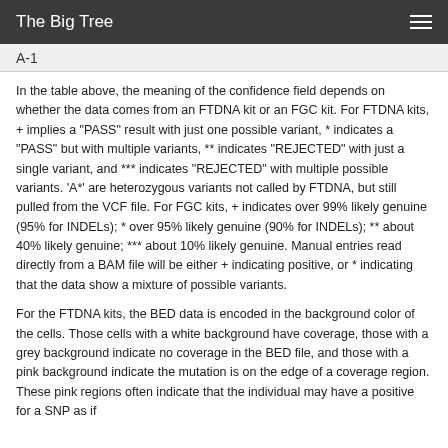The Big Tree
A-1
In the table above, the meaning of the confidence field depends on whether the data comes from an FTDNA kit or an FGC kit. For FTDNA kits, + implies a "PASS" result with just one possible variant, * indicates a "PASS" but with multiple variants, ** indicates "REJECTED" with just a single variant, and *** indicates "REJECTED" with multiple possible variants. 'A*' are heterozygous variants not called by FTDNA, but still pulled from the VCF file. For FGC kits, + indicates over 99% likely genuine (95% for INDELs); * over 95% likely genuine (90% for INDELs); ** about 40% likely genuine; *** about 10% likely genuine. Manual entries read directly from a BAM file will be either + indicating positive, or * indicating that the data show a mixture of possible variants.
For the FTDNA kits, the BED data is encoded in the background color of the cells. Those cells with a white background have coverage, those with a grey background indicate no coverage in the BED file, and those with a pink background indicate the mutation is on the edge of a coverage region. These pink regions often indicate that the individual may have a positive for a SNP as if...